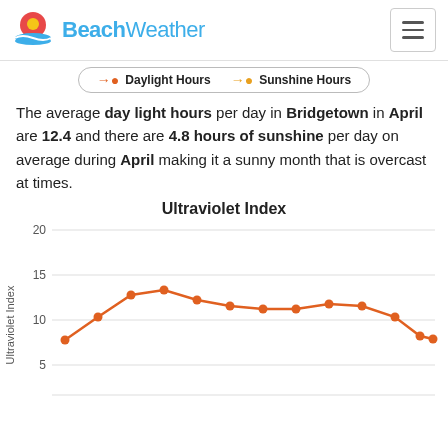BeachWeather
[Figure (line-chart): Ultraviolet Index]
The average day light hours per day in Bridgetown in April are 12.4 and there are 4.8 hours of sunshine per day on average during April making it a sunny month that is overcast at times.